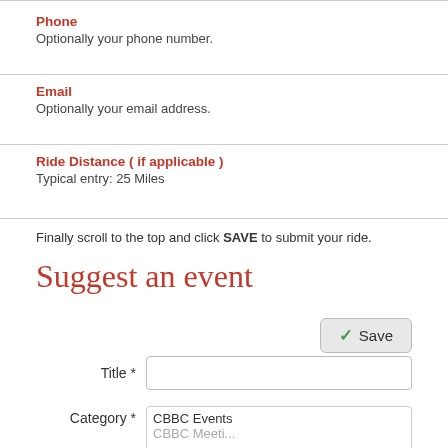Phone
Optionally your phone number.
Email
Optionally your email address.
Ride Distance ( if applicable )
Typical entry:  25 Miles
Finally scroll to the top and click SAVE to submit your ride.
Suggest an event